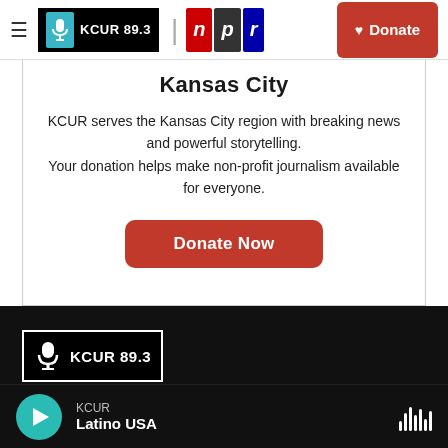≡  KCUR 89.3  |  npr  Donate
Kansas City
KCUR serves the Kansas City region with breaking news and powerful storytelling.
Your donation helps make non-profit journalism available for everyone.
Donate Now
[Figure (logo): KCUR 89.3 logo on dark background in footer]
Stay Connected
KCUR  Latino USA